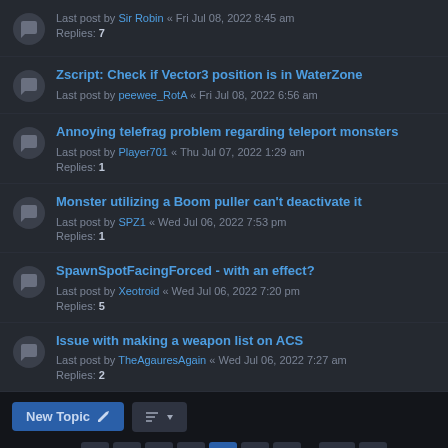Last post by Sir Robin « Fri Jul 08, 2022 8:45 am
Replies: 7
Zscript: Check if Vector3 position is in WaterZone
Last post by peewee_RotA « Fri Jul 08, 2022 6:56 am
Annoying telefrag problem regarding teleport monsters
Last post by Player701 « Thu Jul 07, 2022 1:29 am
Replies: 1
Monster utilizing a Boom puller can't deactivate it
Last post by SPZ1 « Wed Jul 06, 2022 7:53 pm
Replies: 1
SpawnSpotFacingForced - with an effect?
Last post by Xeotroid « Wed Jul 06, 2022 7:20 pm
Replies: 5
Issue with making a weapon list on ACS
Last post by TheAgauresAgain « Wed Jul 06, 2022 7:27 am
Replies: 2
New Topic  |  Sort  |  3833 topics  1 2 3 4 5 ... 128  |  Jump to